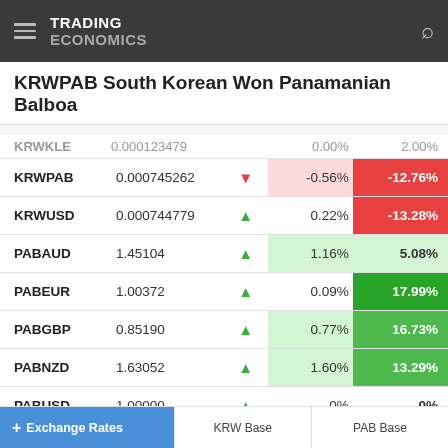TRADING ECONOMICS
KRWPAB South Korean Won Panamanian Balboa
| Symbol | Rate |  | Day% | Year% |
| --- | --- | --- | --- | --- |
| KRWPAB | 0.000745262 | ▼ | -0.56% | -12.76% |
| KRWUSD | 0.000744779 | ▲ | 0.22% | -13.28% |
| PABAUD | 1.45104 | ▲ | 1.16% | 5.08% |
| PABEUR | 1.00372 | ▲ | 0.09% | 17.99% |
| PABGBP | 0.85190 | ▲ | 0.77% | 16.73% |
| PABNZD | 1.63052 | ▲ | 1.60% | 13.29% |
| PABUSD | 1.00000 | ▲ | 0% | 0% |
Exchange Rates | KRW Base | PAB Base